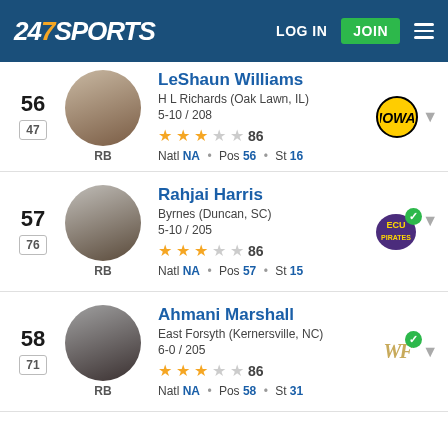247 SPORTS  LOG IN  JOIN
56 | 47 | LeShaun Williams | H L Richards (Oak Lawn, IL) | 5-10 / 208 | RB | 86 | Natl NA • Pos 56 • St 16 | Iowa committed
57 | 76 | Rahjai Harris | Byrnes (Duncan, SC) | 5-10 / 205 | RB | 86 | Natl NA • Pos 57 • St 15 | ECU committed
58 | 71 | Ahmani Marshall | East Forsyth (Kernersville, NC) | 6-0 / 205 | RB | 86 | Natl NA • Pos 58 • St 31 | Wake Forest committed